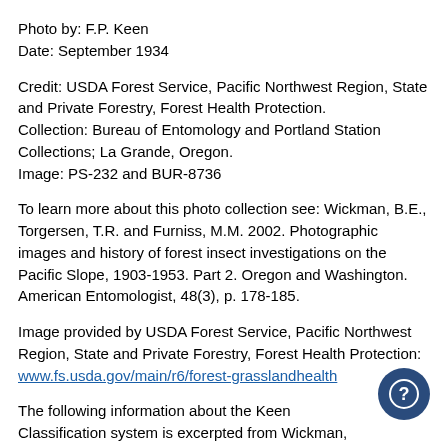Photo by: F.P. Keen
Date: September 1934
Credit: USDA Forest Service, Pacific Northwest Region, State and Private Forestry, Forest Health Protection.
Collection: Bureau of Entomology and Portland Station Collections; La Grande, Oregon.
Image: PS-232 and BUR-8736
To learn more about this photo collection see: Wickman, B.E., Torgersen, T.R. and Furniss, M.M. 2002. Photographic images and history of forest insect investigations on the Pacific Slope, 1903-1953. Part 2. Oregon and Washington. American Entomologist, 48(3), p. 178-185.
Image provided by USDA Forest Service, Pacific Northwest Region, State and Private Forestry, Forest Health Protection: www.fs.usda.gov/main/r6/forest-grasslandhealth
The following information about the Keen Classification system is excerpted from Wickman, Boyd E. 2005. Harry E. Burke and John M. Miller, pioneers in Western forest entomology research.